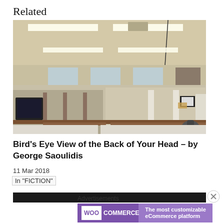Related
[Figure (photo): Interior office space with cubicles and overhead fluorescent lighting, viewed from an elevated angle showing rows of workstations]
Bird's Eye View of the Back of Your Head – by George Saoulidis
11 Mar 2018
In "FICTION"
[Figure (photo): Partially visible second related article image (dark strip)]
Advertisements
[Figure (other): WooCommerce advertisement banner: The most customizable eCommerce platform]